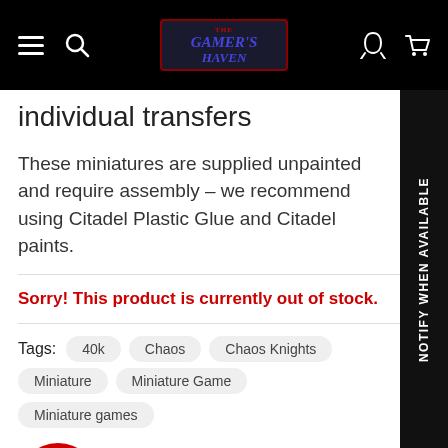The Gamer's Haven — Navigation bar
individual transfers
These miniatures are supplied unpainted and require assembly – we recommend using Citadel Plastic Glue and Citadel paints.
Sorry! This product is currently out of stock.
Tags: 40k  Chaos  Chaos Knights  Miniature  Miniature Game  Miniature games  tures